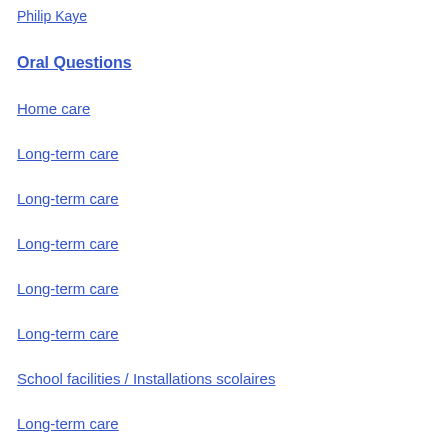Philip Kaye
Oral Questions
Home care
Long-term care
Long-term care
Long-term care
Long-term care
Long-term care
School facilities / Installations scolaires
Long-term care
Mental health services
Indigenous economic development